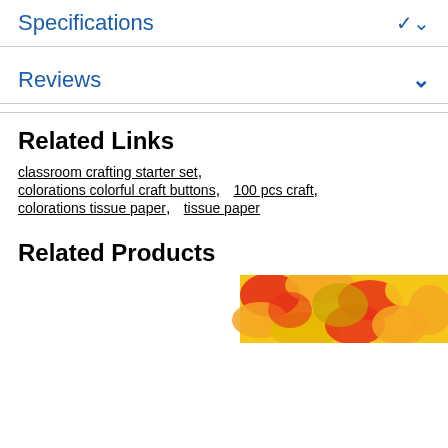Specifications
Reviews
Related Links
classroom crafting starter set,  colorations colorful craft buttons,  100 pcs craft,  colorations tissue paper,  tissue paper
Related Products
[Figure (photo): Colorful craft tissue paper product image with reds, yellows, and oranges]